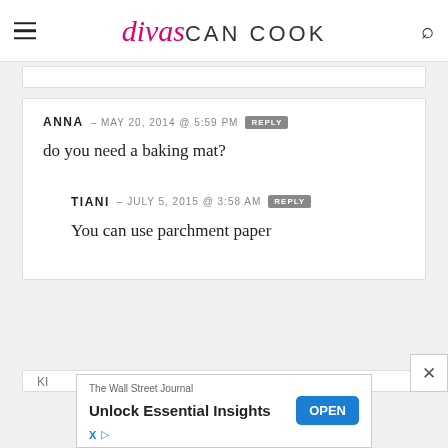divas CAN COOK
ANNA – MAY 20, 2014 @ 5:59 PM  REPLY
do you need a baking mat?
TIANI – JULY 5, 2015 @ 3:58 AM  REPLY
You can use parchment paper
[Figure (screenshot): Advertisement banner: The Wall Street Journal – Unlock Essential Insights – OPEN button]
KI...